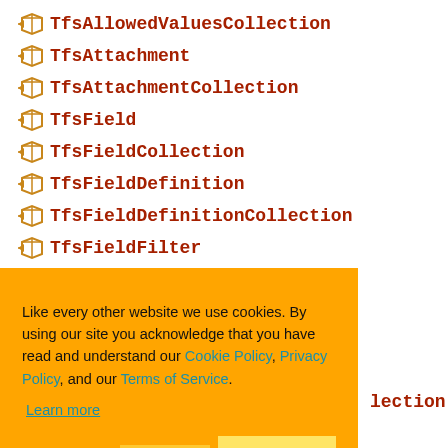TfsAllowedValuesCollection
TfsAttachment
TfsAttachmentCollection
TfsField
TfsFieldCollection
TfsFieldDefinition
TfsFieldDefinitionCollection
TfsFieldFilter
TfsFieldFilterList
[Figure (screenshot): Cookie consent banner with orange background containing text about cookie policy, privacy policy, and terms of service links, with Ask me later, Decline, and Allow cookies buttons]
...lection (partially visible)
TfsStoredQuery (partially visible)